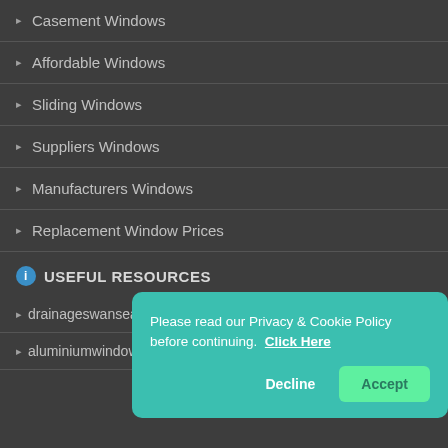Casement Windows
Affordable Windows
Sliding Windows
Suppliers Windows
Manufacturers Windows
Replacement Window Prices
USEFUL RESOURCES
drainageswansea.uk
aluminiumwindows-swans...
Please read our Privacy & Cookie Policy before continuing. Click Here
Decline
Accept